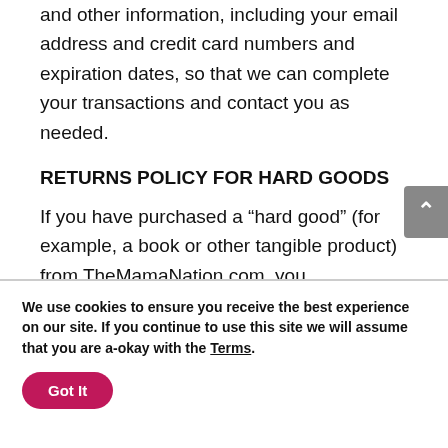and other information, including your email address and credit card numbers and expiration dates, so that we can complete your transactions and contact you as needed.
RETURNS POLICY FOR HARD GOODS
If you have purchased a “hard good” (for example, a book or other tangible product) from TheMamaNation.com, you
We use cookies to ensure you receive the best experience on our site. If you continue to use this site we will assume that you are a-okay with the Terms.